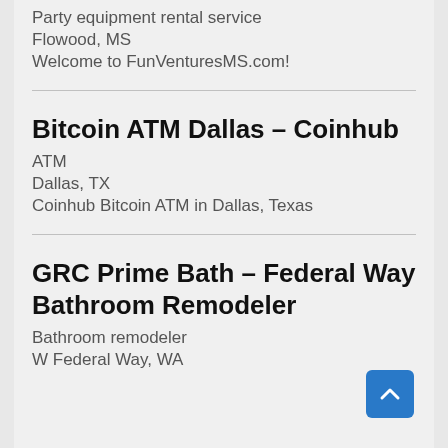Party equipment rental service
Flowood, MS
Welcome to FunVenturesMS.com!
Bitcoin ATM Dallas – Coinhub
ATM
Dallas, TX
Coinhub Bitcoin ATM in Dallas, Texas
GRC Prime Bath – Federal Way Bathroom Remodeler
Bathroom remodeler
W Federal Way, WA